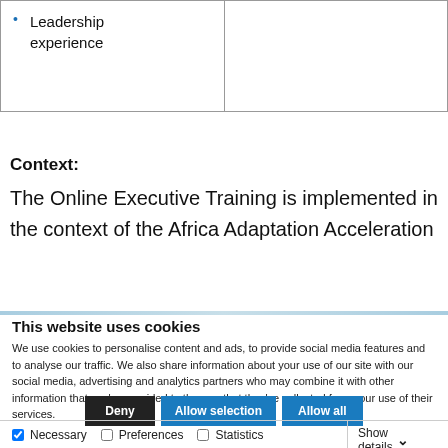|  |  |
| --- | --- |
| • Leadership experience |  |
Context:
The Online Executive Training is implemented in the context of the Africa Adaptation Acceleration
This website uses cookies
We use cookies to personalise content and ads, to provide social media features and to analyse our traffic. We also share information about your use of our site with our social media, advertising and analytics partners who may combine it with other information that you've provided to them or that they've collected from your use of their services.
Deny | Allow selection | Allow all
Necessary  Preferences  Statistics  Marketing  Show details